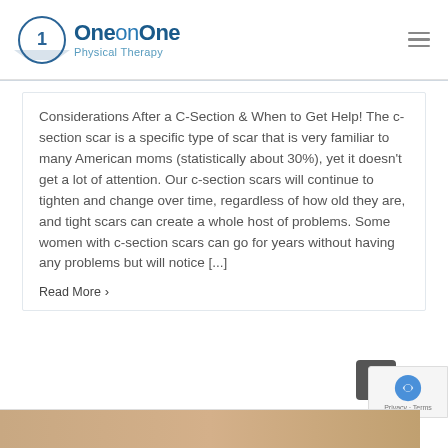[Figure (logo): One on One Physical Therapy logo with circled number 1 and blue text]
Considerations After a C-Section & When to Get Help! The c-section scar is a specific type of scar that is very familiar to many American moms (statistically about 30%), yet it doesn't get a lot of attention. Our c-section scars will continue to tighten and change over time, regardless of how old they are, and tight scars can create a whole host of problems. Some women with c-section scars can go for years without having any problems but will notice [...]
Read More >
[Figure (photo): Bottom image strip showing partial photo]